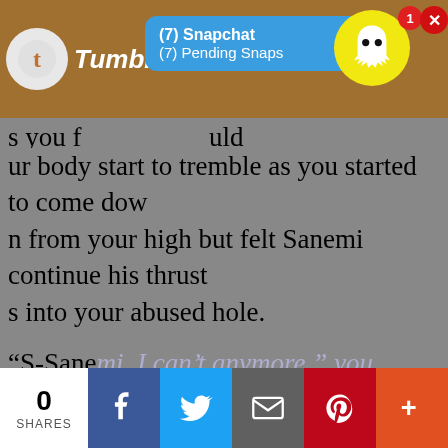[Figure (screenshot): Tumblr webpage with Snapchat notification overlay showing (7) Snapchat and (7) Pending Snaps, Snapchat ghost icon with badge showing 1, and a red X close button]
making a mess all over Sanemi and the bed be
ur body start to tremble as you started to come down from your high but felt Sanemi continue his thrusts into your abused hole.
“S-Sanemi. I can’t anymore,” you slurred out feeling the overstimulation take over.
[Figure (screenshot): Modal dialog box with text 'Click OK To Continue' and an OK button]
“Yes you can. We both know you can.”
You opened your eyes and were met with the sight of your boyfriend’s fucked out face and relaxed body. Realizing that he had cum from watching you made your exhausted body heat up once again. Before you could say anything, Sanemi pushed your face dow
[Figure (screenshot): Social share bar with 0 SHARES count, Facebook, Twitter, Email, Pinterest, and More buttons]